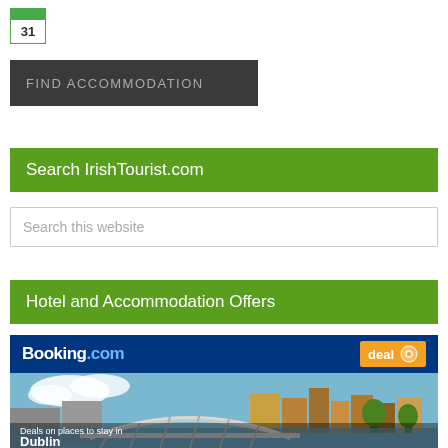[Figure (logo): Calendar icon with number 31 and green border]
FIND ACCOMMODATION
Search IrishTourist.com
Search this website
Hotel and Accommodation Offers
[Figure (screenshot): Booking.com advertisement banner showing a photo of Dublin's Ha'penny Bridge with the text 'Deals on places to stay in Dublin' and an orange 'deal' badge in the top right corner]